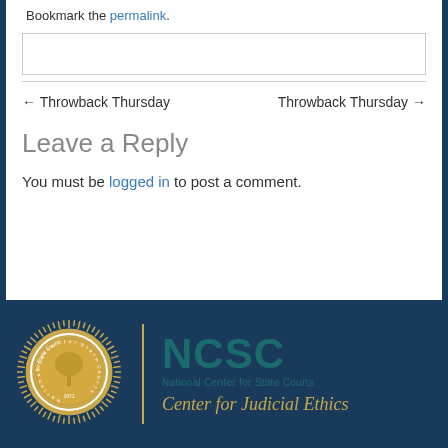Bookmark the permalink.
← Throwback Thursday
Throwback Thursday →
Leave a Reply
You must be logged in to post a comment.
[Figure (logo): National Center for State Courts (NCSC) logo with golden circular seal on left, vertical gold divider, NCSC acronym in teal on right, 'National Center for State Courts' subtitle, and 'Center for Judicial Ethics' in gold italic script below]